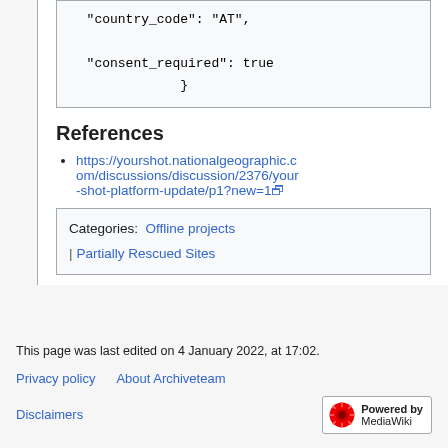"country_code": "AT",
"consent_required": true
}
References
https://yourshot.nationalgeographic.com/discussions/discussion/2376/your-shot-platform-update/p1?new=1
Categories: Offline projects | Partially Rescued Sites
This page was last edited on 4 January 2022, at 17:02.
Privacy policy   About Archiveteam
Disclaimers